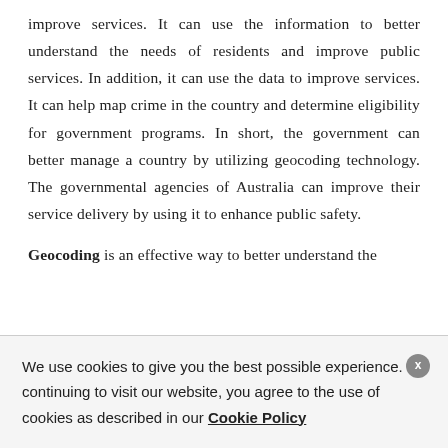improve services. It can use the information to better understand the needs of residents and improve public services. In addition, it can use the data to improve services. It can help map crime in the country and determine eligibility for government programs. In short, the government can better manage a country by utilizing geocoding technology. The governmental agencies of Australia can improve their service delivery by using it to enhance public safety.

Geocoding is an effective way to better understand the
We use cookies to give you the best possible experience. By continuing to visit our website, you agree to the use of cookies as described in our Cookie Policy